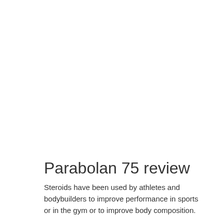Parabolan 75 review
Steroids have been used by athletes and bodybuilders to improve performance in sports or in the gym or to improve body composition.